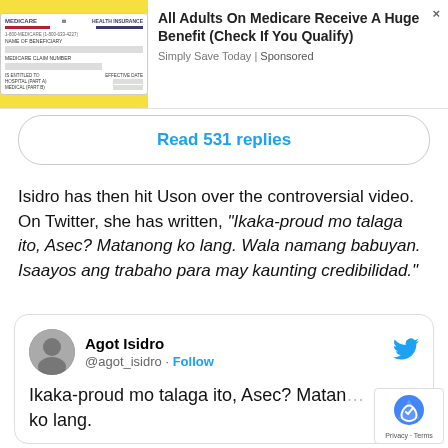[Figure (screenshot): Advertisement banner showing a Medicare card image on yellow background with text: All Adults On Medicare Receive A Huge Benefit (Check If You Qualify). Simply Save Today | Sponsored]
Read 531 replies
Isidro has then hit Uson over the controversial video. On Twitter, she has written, “Ikaka-proud mo talaga ito, Asec? Matanong ko lang. Wala namang babuyan. Isaayos ang trabaho para may kaunting credibilidad.”
[Figure (screenshot): Embedded tweet from Agot Isidro (@agot_isidro) with Follow button and Twitter bird logo. Tweet text: Ikaka-proud mo talaga ito, Asec? Matan... ko lang.]